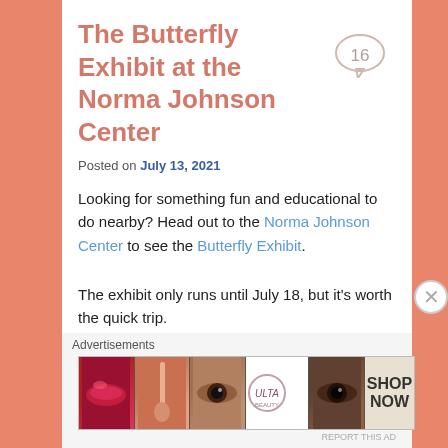The Butterfly Exhibit at the Norma Johnson Center
Posted on July 13, 2021
Looking for something fun and educational to do nearby? Head out to the Norma Johnson Center to see the Butterfly Exhibit.
The exhibit only runs until July 18, but it's worth the quick trip.
Their hours are from 10-4 on weekdays and Saturday and 12-4 on Sunday.
Advertisements
[Figure (other): Ulta Beauty advertisement banner showing makeup products, eyes, lips, and brush with SHOP NOW call to action]